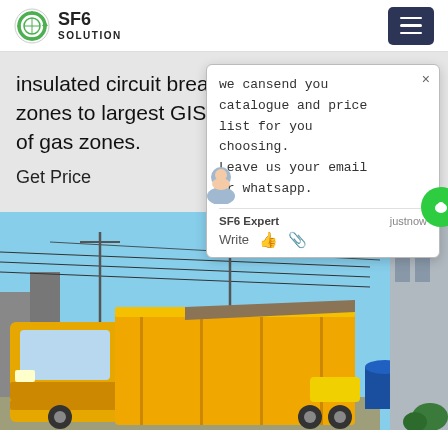SF6 SOLUTION
insulated circuit breaker with three gas zones to largest GIS in world with thousands of gas zones.
Get Price
we cansend you catalogue and price list for you choosing.
Leave us your email or whatsapp.
SF6 Expert   justnow
Write
[Figure (photo): Yellow truck/vehicle parked outside industrial facility under blue sky with power lines overhead and a building on the right side.]